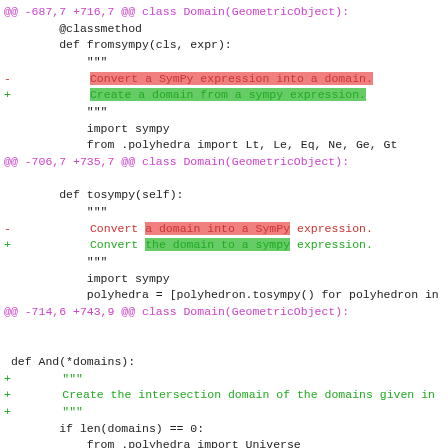[Figure (screenshot): Git diff output showing code changes in a Python file with hunk headers, removed lines (red), and added lines (green). Two diff hunks are shown for class Domain(GeometricObject) and one for def And(*domains).]